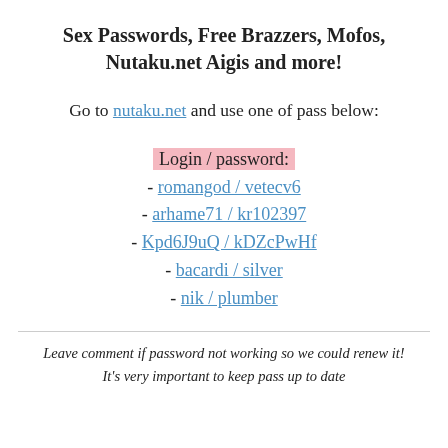Sex Passwords, Free Brazzers, Mofos, Nutaku.net Aigis and more!
Go to nutaku.net and use one of pass below:
Login / password:
- romangod / vetecv6
- arhame71 / kr102397
- Kpd6J9uQ / kDZcPwHf
- bacardi / silver
- nik / plumber
Leave comment if password not working so we could renew it!
It's very important to keep pass up to date